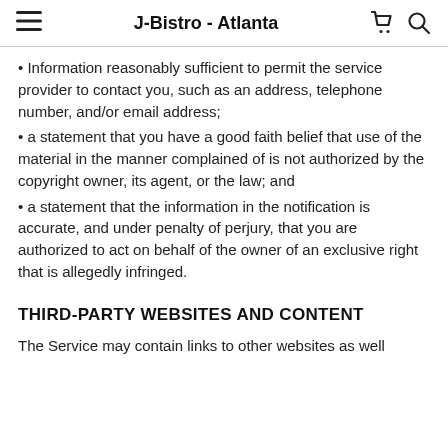J-Bistro - Atlanta
• Information reasonably sufficient to permit the service provider to contact you, such as an address, telephone number, and/or email address;
• a statement that you have a good faith belief that use of the material in the manner complained of is not authorized by the copyright owner, its agent, or the law; and
• a statement that the information in the notification is accurate, and under penalty of perjury, that you are authorized to act on behalf of the owner of an exclusive right that is allegedly infringed.
THIRD-PARTY WEBSITES AND CONTENT
The Service may contain links to other websites as well